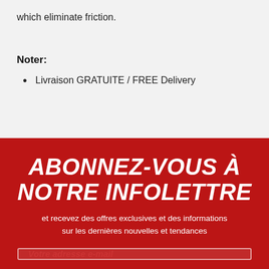which eliminate friction.
Noter:
Livraison GRATUITE / FREE Delivery
ABONNEZ-VOUS À NOTRE INFOLETTRE
et recevez des offres exclusives et des informations sur les dernières nouvelles et tendances
Votre adresse e-mail